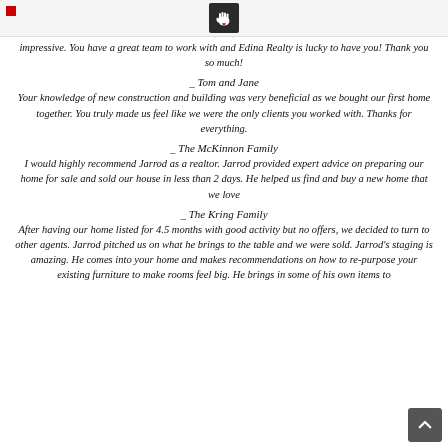[logo icon]
impressive. You have a great team to work with and Edina Realty is lucky to have you! Thank you so much!
_ Tom and Jane
Your knowledge of new construction and building was very beneficial as we bought our first home together. You truly made us feel like we were the only clients you worked with. Thanks for everything.
_ The McKinnon Family
I would highly recommend Jarrod as a realtor. Jarrod provided expert advice on preparing our home for sale and sold our house in less than 2 days. He helped us find and buy a new home that we love
_ The Kring Family
After having our home listed for 4.5 months with good activity but no offers, we decided to turn to other agents. Jarrod pitched us on what he brings to the table and we were sold. Jarrod's staging is amazing. He comes into your home and makes recommendations on how to re-purpose your existing furniture to make rooms feel big. He brings in some of his own items to